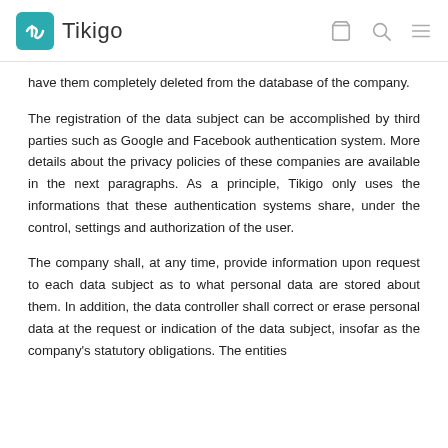Tikigo
have them completely deleted from the database of the company.
The registration of the data subject can be accomplished by third parties such as Google and Facebook authentication system. More details about the privacy policies of these companies are available in the next paragraphs. As a principle, Tikigo only uses the informations that these authentication systems share, under the control, settings and authorization of the user.
The company shall, at any time, provide information upon request to each data subject as to what personal data are stored about them. In addition, the data controller shall correct or erase personal data at the request or indication of the data subject, insofar as the company's statutory obligations. The entities